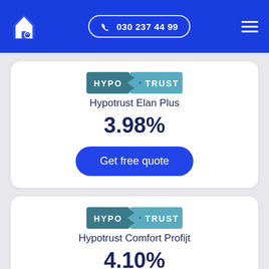030 237 44 99
[Figure (logo): Hypotrust logo - HYPO arrow TRUST badge]
Hypotrust Elan Plus
3.98%
Get free quote
[Figure (logo): Hypotrust logo - HYPO arrow TRUST badge]
Hypotrust Comfort Profijt
4.10%